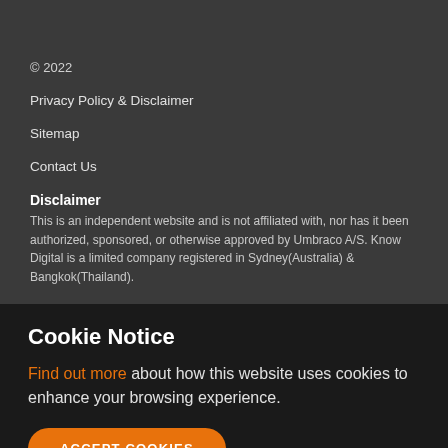© 2022
Privacy Policy & Disclaimer
Sitemap
Contact Us
Disclaimer
This is an independent website and is not affiliated with, nor has it been authorized, sponsored, or otherwise approved by Umbraco A/S. Know Digital is a limited company registered in Sydney(Australia) & Bangkok(Thailand).
Cookie Notice
Find out more about how this website uses cookies to enhance your browsing experience.
ACCEPT COOKIES